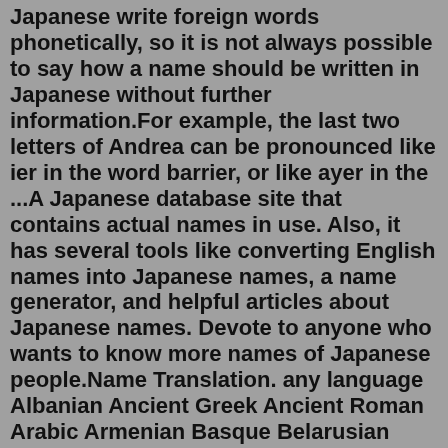Japanese write foreign words phonetically, so it is not always possible to say how a name should be written in Japanese without further information.For example, the last two letters of Andrea can be pronounced like ier in the word barrier, or like ayer in the ...A Japanese database site that contains actual names in use. Also, it has several tools like converting English names into Japanese names, a name generator, and helpful articles about Japanese names. Devote to anyone who wants to know more names of Japanese people.Name Translation. any language Albanian Ancient Greek Ancient Roman Arabic Armenian Basque Belarusian Bosnian Breton Bulgarian Catalan Cornish Corsican Croatian Czech Danish Dutch English Esperanto Estonian Faroese Finnish French Frisian Galician Georgian German Greek Hawaiian Hebrew Hungarian Icelandic Indian Irish Italian Latvian Lithuanian ...Jan 24, 2020 · Our names are our lifelong companions—inked onto our birth certificates, etched into our tombstones, and ultimately written in the hearts of our loved ones long